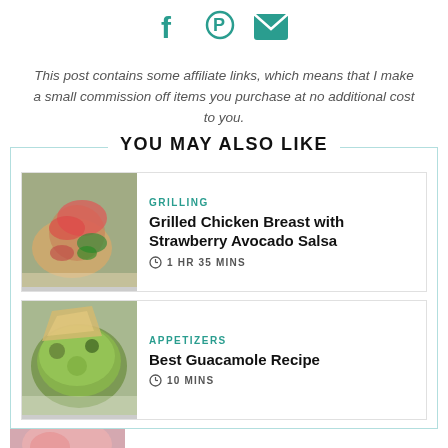[Figure (other): Social sharing icons: Facebook (f), Pinterest (P), Email (envelope) in teal color]
This post contains some affiliate links, which means that I make a small commission off items you purchase at no additional cost to you.
YOU MAY ALSO LIKE
[Figure (photo): Photo of Grilled Chicken Breast with Strawberry Avocado Salsa]
GRILLING
Grilled Chicken Breast with Strawberry Avocado Salsa
1 HR 35 MINS
[Figure (photo): Photo of Best Guacamole Recipe]
APPETIZERS
Best Guacamole Recipe
10 MINS
[Figure (photo): Partial photo of a third recipe]